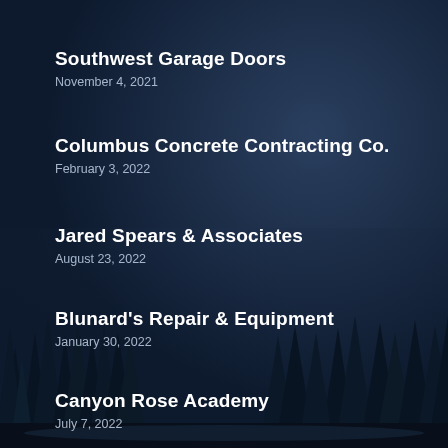Southwest Garage Doors
November 4, 2021
Columbus Concrete Contracting Co.
February 3, 2022
Jared Spears & Associates
August 23, 2022
Blunard's Repair & Equipment
January 30, 2022
Canyon Rose Academy
July 7, 2022